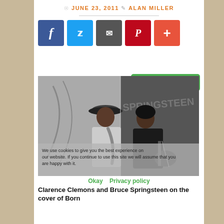JUNE 23, 2011 · ALAN MILLER
[Figure (other): Social media share buttons: Facebook (blue), Twitter (blue), Email (dark gray), Pinterest (red), Plus/More (orange-red)]
[Figure (other): Green Print / PDF button]
[Figure (photo): Black and white photograph of Clarence Clemons and Bruce Springsteen on the cover of Born to Run. Clemons plays saxophone wearing a wide-brim hat, Springsteen plays guitar in dark jacket. Text 'SPRINGSTEEN' visible in background.]
We use cookies to give you the best experience on our website. If you continue to use this site we will assume that you are happy with it.
Clarence Clemons and Bruce Springsteen on the cover of Born